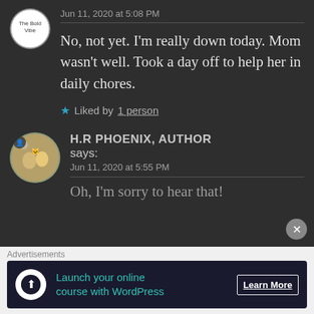Jun 11, 2020 at 5:08 PM
No, not yet. I'm really down today. Mom wasn't well. Took a day off to help her in daily chores.
★ Liked by 1 person
H.R PHOENIX, AUTHOR says:
Jun 11, 2020 at 5:55 PM
Oh, I'm sorry to hear that!
Advertisements
Launch your online course with WordPress
Learn More